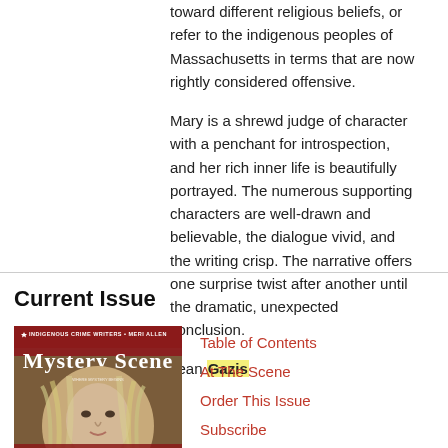toward different religious beliefs, or refer to the indigenous peoples of Massachusetts in terms that are now rightly considered offensive.
Mary is a shrewd judge of character with a penchant for introspection, and her rich inner life is beautifully portrayed. The numerous supporting characters are well-drawn and believable, the dialogue vivid, and the writing crisp. The narrative offers one surprise twist after another until the dramatic, unexpected conclusion.
Jean Gazis
Current Issue
[Figure (photo): Magazine cover of Mystery Scene featuring a woman with blonde hair and text reading INDIGENOUS CRIME WRITERS • MERI ALLEN, Mystery Scene, 6 WRITERS TO WATCH]
Table of Contents
At The Scene
Order This Issue
Subscribe